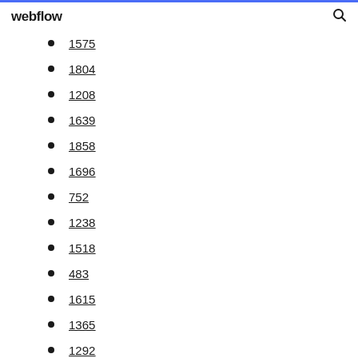webflow
1575
1804
1208
1639
1858
1696
752
1238
1518
483
1615
1365
1292